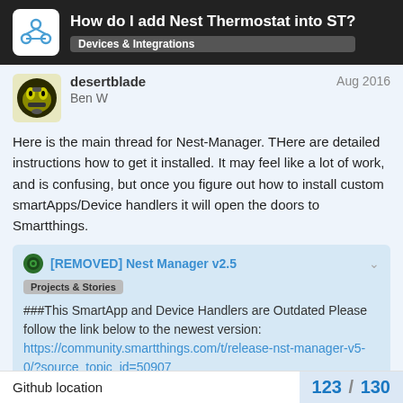How do I add Nest Thermostat into ST?
Devices & Integrations
desertblade
Ben W
Aug 2016
Here is the main thread for Nest-Manager. THere are detailed instructions how to get it installed. It may feel like a lot of work, and is confusing, but once you figure out how to install custom smartApps/Device handlers it will open the doors to Smartthings.
[REMOVED] Nest Manager v2.5
Projects & Stories
###This SmartApp and Device Handlers are Outdated Please follow the link below to the newest version:
https://community.smartthings.com/t/release-nst-manager-v5-0/?source_topic_id=50907
Github location
123 / 130